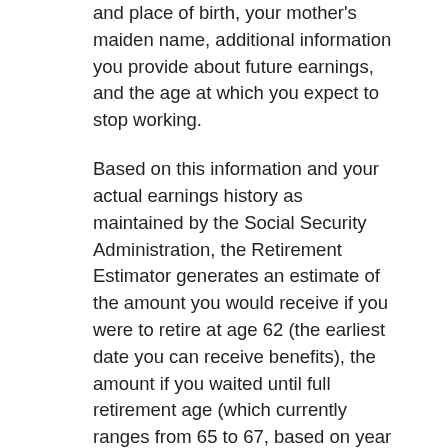and place of birth, your mother's maiden name, additional information you provide about future earnings, and the age at which you expect to stop working.
Based on this information and your actual earnings history as maintained by the Social Security Administration, the Retirement Estimator generates an estimate of the amount you would receive if you were to retire at age 62 (the earliest date you can receive benefits), the amount if you waited until full retirement age (which currently ranges from 65 to 67, based on year of birth), and the larger benefit you would receive if you continued working until age 70 before claiming retirement benefits.
It's interesting to note that the 2021 Social Security Trustees Report includes a warning about the serious problems facing Social Security in the future. Without changes, the Social Security Trust Fund reserves will be exhausted by 2034 and there will be